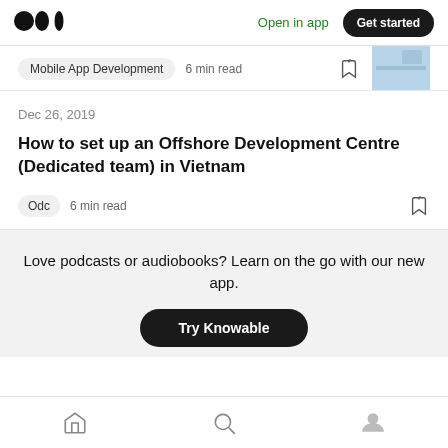Medium logo | Open in app | Get started
Mobile App Development  6 min read
Dec 26, 2019
How to set up an Offshore Development Centre (Dedicated team) in Vietnam
Odc  6 min read
Love podcasts or audiobooks? Learn on the go with our new app.
Try Knowable
Home | Search | Profile